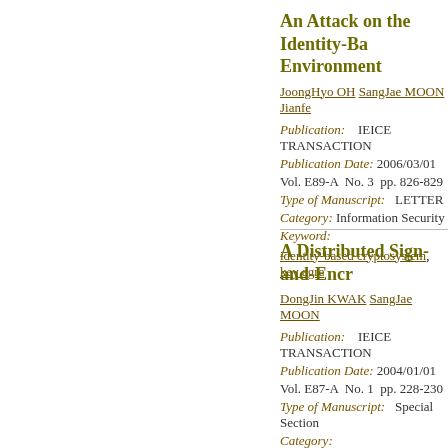An Attack on the Identity-Based ... Environment
JoongHyo OH SangJae MOON Jianfe...
Publication: IEICE TRANSACTIONS
Publication Date: 2006/03/01
Vol. E89-A  No. 3  pp. 826-829
Type of Manuscript: LETTER
Category: Information Security
Keyword:
identity-based cryptosystem, key agre...
A Distributed Sign-and-Encr...
DongJin KWAK SangJae MOON
Publication: IEICE TRANSACTIONS
Publication Date: 2004/01/01
Vol. E87-A  No. 1  pp. 228-230
Type of Manuscript: Special Section...
Category:
Keyword:
cryptography, security, signature, grou...